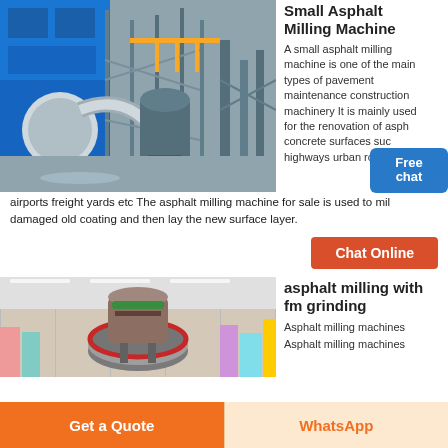[Figure (photo): Industrial asphalt milling machine or large industrial plant with blue building, ducts, pipes, and structural steel framework]
Small Asphalt Milling Machine
A small asphalt milling machine is one of the main types of pavement maintenance construction machinery It is mainly used for the renovation of asphalt concrete surfaces such as highways urban roads airports freight yards etc The asphalt milling machine for sale is used to mill damaged old coating and then lay the new surface layer.
[Figure (photo): Interior of industrial facility with machinery including a large circular milling drum or disc-shaped machine component, with scaffolding and warehouse structure visible]
asphalt milling with fm grinding
Asphalt milling machines
Asphalt milling machines